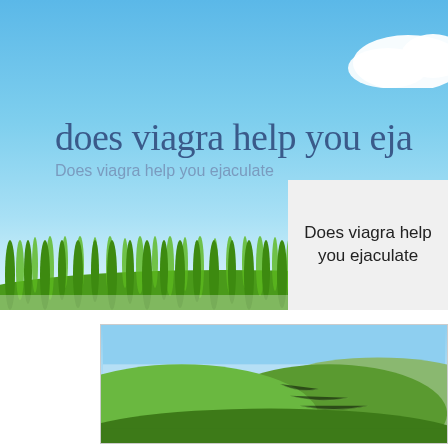[Figure (illustration): Hero banner with blue sky background, green grass strip at bottom, white cloud in top right corner]
does viagra help you eja
Does viagra help you ejaculate
Does viagra help you ejaculate
[Figure (photo): Framed landscape photo showing green rolling hills under a blue sky]